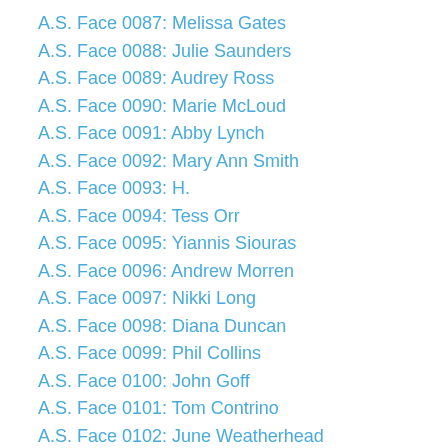A.S. Face 0087: Melissa Gates
A.S. Face 0088: Julie Saunders
A.S. Face 0089: Audrey Ross
A.S. Face 0090: Marie McLoud
A.S. Face 0091: Abby Lynch
A.S. Face 0092: Mary Ann Smith
A.S. Face 0093: H.
A.S. Face 0094: Tess Orr
A.S. Face 0095: Yiannis Siouras
A.S. Face 0096: Andrew Morren
A.S. Face 0097: Nikki Long
A.S. Face 0098: Diana Duncan
A.S. Face 0099: Phil Collins
A.S. Face 0100: John Goff
A.S. Face 0101: Tom Contrino
A.S. Face 0102: June Weatherhead
A.S. Face 0103: Jim Weatherhead
A.S. Face 0104: R.J. A Mother’s Hero
A.S. Face 0105: Jen Smith
A.S. Face 0106: Crystal Benedict